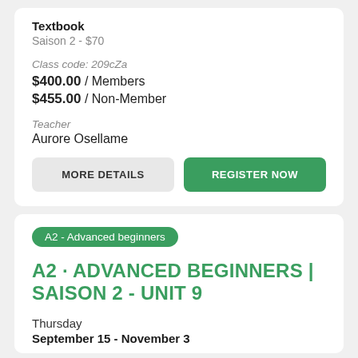Textbook
Saison 2 - $70
Class code: 209cZa
$400.00 / Members
$455.00 / Non-Member
Teacher
Aurore Osellame
MORE DETAILS
REGISTER NOW
A2 - Advanced beginners
A2 · ADVANCED BEGINNERS | SAISON 2 - UNIT 9
Thursday
September 15 - November 3